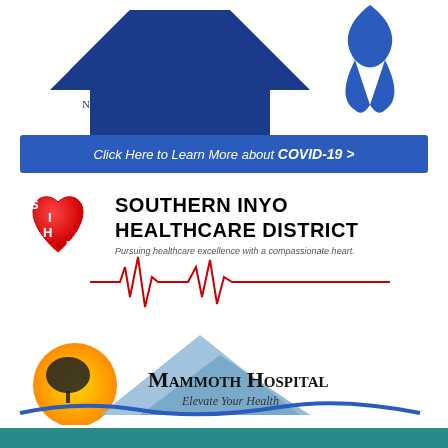[Figure (logo): Northern Inyo Healthcare District logo with blue triangle/house shape and blue awareness ribbon]
Northern Inyo Healthcare District
One Team. One Goal. Your Health.
[Figure (other): Blue banner button: Click Here to Learn More about COVID-19 >]
[Figure (logo): Southern Inyo Healthcare District logo with red heart with S, I, H, D letters and EKG line. Text: Pursuing healthcare excellence with a compassionate heart.]
[Figure (logo): Mammoth Hospital logo with mountain, sunset/sun circle, and tree silhouette. Tagline: Elevate Your Health]
[Figure (other): Partial teal/dark banner at bottom of page, partially visible]